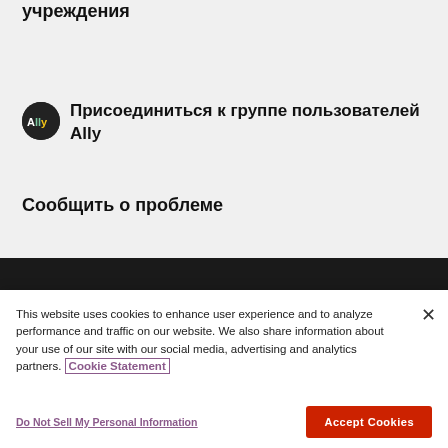учреждения
Присоединиться к группе пользователей Ally
Сообщить о проблеме
This website uses cookies to enhance user experience and to analyze performance and traffic on our website. We also share information about your use of our site with our social media, advertising and analytics partners. Cookie Statement
Do Not Sell My Personal Information
Accept Cookies